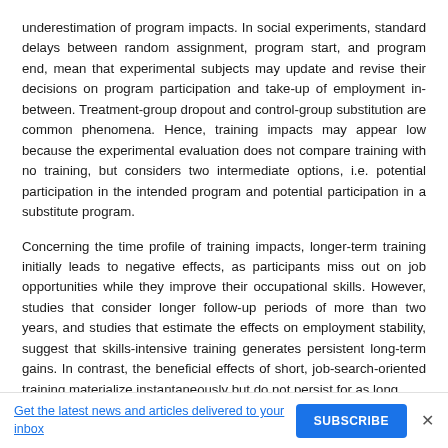underestimation of program impacts. In social experiments, standard delays between random assignment, program start, and program end, mean that experimental subjects may update and revise their decisions on program participation and take-up of employment in-between. Treatment-group dropout and control-group substitution are common phenomena. Hence, training impacts may appear low because the experimental evaluation does not compare training with no training, but considers two intermediate options, i.e. potential participation in the intended program and potential participation in a substitute program.
Concerning the time profile of training impacts, longer-term training initially leads to negative effects, as participants miss out on job opportunities while they improve their occupational skills. However, studies that consider longer follow-up periods of more than two years, and studies that estimate the effects on employment stability, suggest that skills-intensive training generates persistent long-term gains. In contrast, the beneficial effects of short, job-search-oriented training materialize instantaneously but do not persist for as long.
It is important, therefore, that policymakers are aware that while
Get the latest news and articles delivered to your inbox